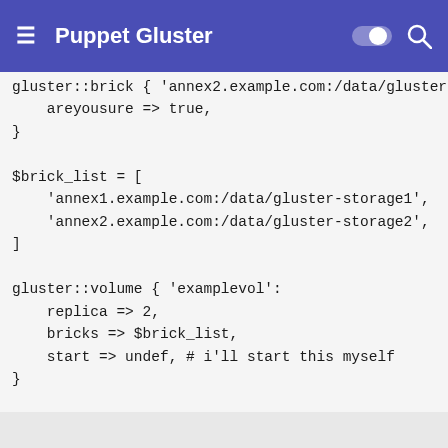Puppet Gluster
gluster::brick { 'annex2.example.com:/data/gluster-sto
    areyousure => true,
}

$brick_list = [
    'annex1.example.com:/data/gluster-storage1',
    'annex2.example.com:/data/gluster-storage2',
]

gluster::volume { 'examplevol':
    replica => 2,
    bricks => $brick_list,
    start => undef, # i'll start this myself
}

# namevar must be: <VOLNAME>#<KEY>
gluster::volume::property { 'examplevol#auth.reject':
    value => ['192.0.2.13', '198.51.100.42', '203.0.11
}